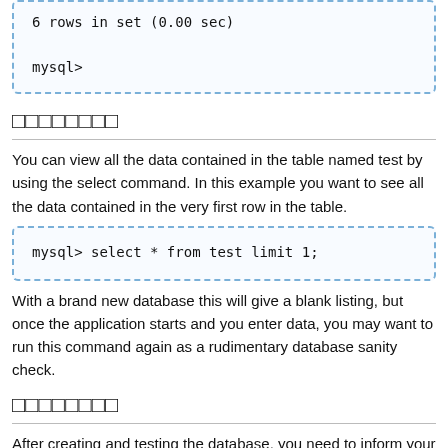6 rows in set (0.00 sec)

mysql>
□□□□□□□□
You can view all the data contained in the table named test by using the select command. In this example you want to see all the data contained in the very first row in the table.
mysql> select * from test limit 1;
With a brand new database this will give a blank listing, but once the application starts and you enter data, you may want to run this command again as a rudimentary database sanity check.
□□□□□□□□
After creating and testing the database, you need to inform your application of the database name, the IP address of the database client server, and the username